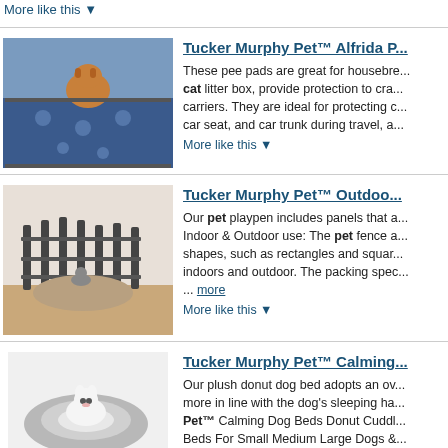More like this ▼
Tucker Murphy Pet™ Alfrida P...
These pee pads are great for housebre... cat litter box, provide protection to cra... carriers. They are ideal for protecting c... car seat, and car trunk during travel, a...
More like this ▼
Tucker Murphy Pet™ Outdoo...
Our pet playpen includes panels that a... Indoor & Outdoor use: The pet fence a... shapes, such as rectangles and squar... indoors and outdoor. The packing spec... ... more
More like this ▼
Tucker Murphy Pet™ Calming...
Our plush donut dog bed adopts an ov... more in line with the dog's sleeping ha... Pet™ Calming Dog Beds Donut Cuddl... Beds For Small Medium Large Dogs &... 20.0 W x 14.0 D ... more
More like this ▼
Tucker Murphy Pet™ Calming...
Many dog/cat beds on the market are... are prone to get sick at night. | Tucke...